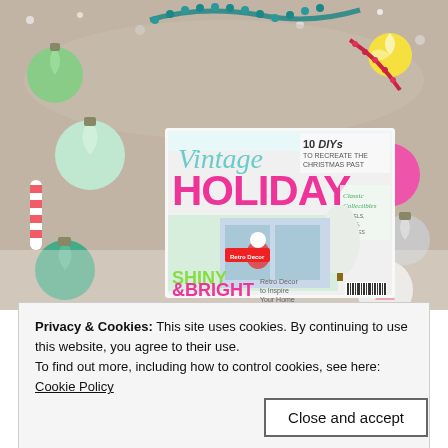[Figure (photo): A vintage holiday magazine titled 'Vintage HOLIDAY' surrounded by colorful Christmas ornaments and fake snow. The magazine cover features text '10 DIYs TO RECREATE THE CHRISTMAS PAST', 'Classic Collectibles', 'SHINY & BRIGHT Retro Decor to Inspire Your Home'.]
Privacy & Cookies: This site uses cookies. By continuing to use this website, you agree to their use.
To find out more, including how to control cookies, see here:
Cookie Policy
Close and accept
Celebrating Everyday Life Using Shred Extras...